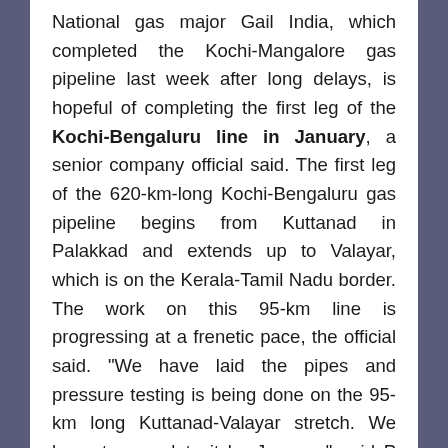National gas major Gail India, which completed the Kochi-Mangalore gas pipeline last week after long delays, is hopeful of completing the first leg of the Kochi-Bengaluru line in January, a senior company official said. The first leg of the 620-km-long Kochi-Bengaluru gas pipeline begins from Kuttanad in Palakkad and extends up to Valayar, which is on the Kerala-Tamil Nadu border. The work on this 95-km line is progressing at a frenetic pace, the official said. "We have laid the pipes and pressure testing is being done on the 95-km long Kuttanad-Valayar stretch. We hope to complete it by January," said P Murugesan, executive director in-charge of the southern region at Gail.